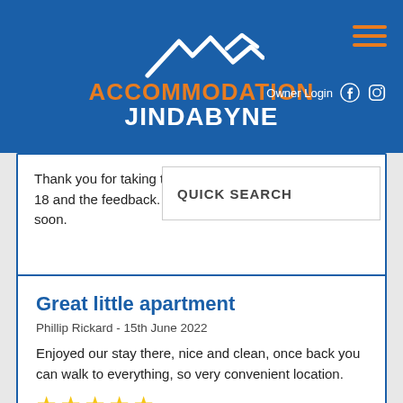[Figure (logo): Accommodation Jindabyne logo with mountain silhouette, orange and white text on blue background, with hamburger menu, Owner Login, Facebook and Instagram icons]
Thank you for taking the time top review Central Park 18 and the feedback. We hop... soon.
QUICK SEARCH
Great little apartment
Phillip Rickard - 15th June 2022
Enjoyed our stay there, nice and clean, once back you can walk to everything, so very convenient location.
[Figure (illustration): Five gold/yellow star rating icons]